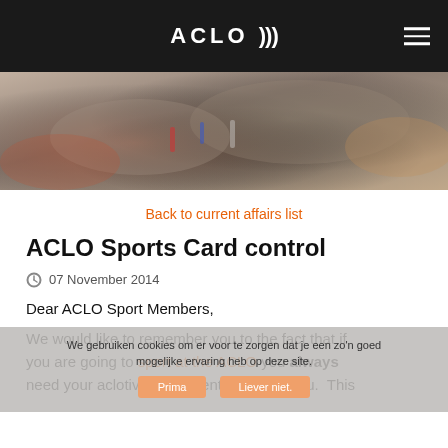ACLO )))
[Figure (photo): Close-up photo of athletic shoes/sneakers with colorful laces, blurred background]
Back to current affairs list
ACLO Sports Card control
07 November 2014
Dear ACLO Sport Members,
We gebruiken cookies om er voor te zorgen dat je een zo'n goed mogelijke ervaring heb op deze site.
We would like to remember you to the fact that if you are going to sport at the ACLO you always need your aclotivated student card with you.  This